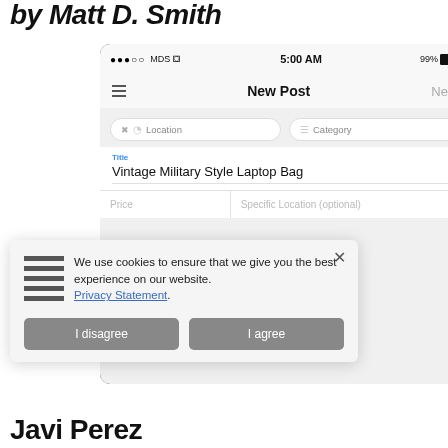by Matt D. Smith
[Figure (screenshot): Mobile app screenshot showing 'New Post' screen with Location, Category, Title (Vintage Military Style Laptop Bag), Price, and Specific Location fields on an iOS device]
We use cookies to ensure that we give you the best experience on our website. Privacy Statement. I disagree | I agree
Javi Perez